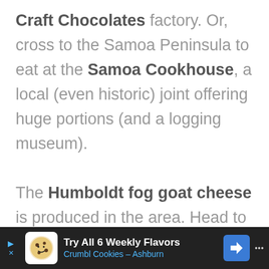Craft Chocolates factory. Or, cross to the Samoa Peninsula to eat at the Samoa Cookhouse, a local (even historic) joint offering huge portions (and a logging museum).

The Humboldt fog goat cheese is produced in the area. Head to the North Coast Co-op, Eureka Natural Food, or local supermarket to stock
[Figure (other): Advertisement bar at bottom: dark background, Crumbl Cookies ad with cookie icon, blue navigation arrow icon, and dots menu. Text: 'Try All 6 Weekly Flavors' and 'Crumbl Cookies - Ashburn']